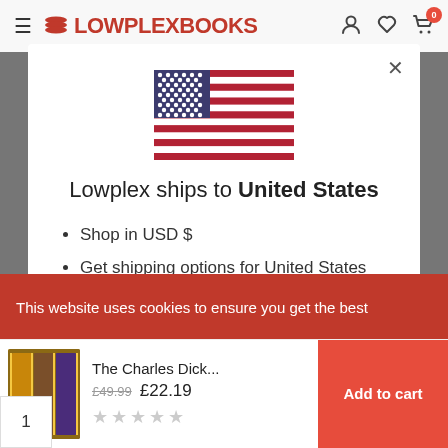≡ LOWPLEXBOOKS — account, wishlist, cart (0)
[Figure (illustration): US flag SVG illustration in modal dialog]
Lowplex ships to United States
Shop in USD $
Get shipping options for United States
This website uses cookies to ensure you get the best
The Charles Dick...  £49.99  £22.19  ☆☆☆☆☆  Add to cart
1